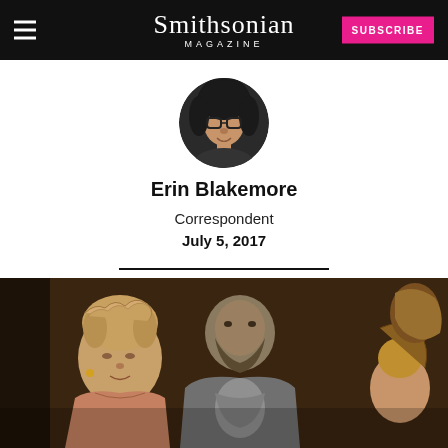Smithsonian Magazine | SUBSCRIBE
[Figure (photo): Circular profile photo of Erin Blakemore, a woman with dark hair and glasses]
Erin Blakemore
Correspondent
July 5, 2017
[Figure (photo): Classical Renaissance painting detail showing a woman with braided hair in the foreground, a bearded man in armor behind her, and other figures]